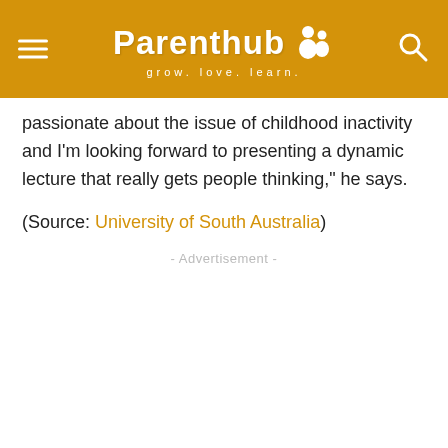Parenthub grow. love. learn.
passionate about the issue of childhood inactivity and I'm looking forward to presenting a dynamic lecture that really gets people thinking," he says.
(Source: University of South Australia)
- Advertisement -